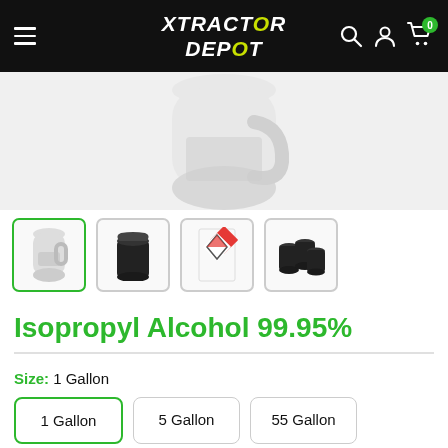Xtractor Depot
[Figure (photo): White gallon jug of Isopropyl Alcohol 99.95% product, partially cropped]
[Figure (photo): Thumbnail images of product variants: 1-gallon jug (selected, green border), black 5-gallon bucket, SDS/hazmat label sheet, black 55-gallon drum]
Isopropyl Alcohol 99.95%
Size: 1 Gallon
1 Gallon
5 Gallon
55 Gallon